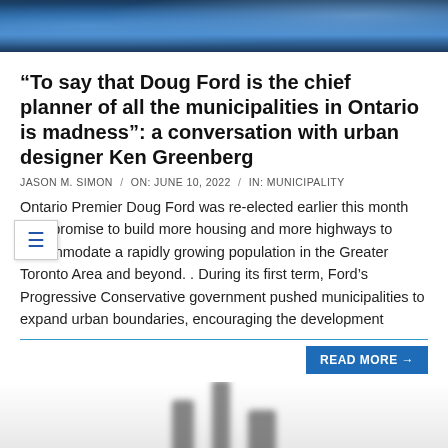[Figure (photo): Header image with blue tones, partially cropped at top]
“To say that Doug Ford is the chief planner of all the municipalities in Ontario is madness”: a conversation with urban designer Ken Greenberg
JASON M. SIMON / ON: JUNE 10, 2022 / IN: MUNICIPALITY
Ontario Premier Doug Ford was re-elected earlier this month on a promise to build more housing and more highways to accommodate a rapidly growing population in the Greater Toronto Area and beyond. . During its first term, Ford’s Progressive Conservative government pushed municipalities to expand urban boundaries, encouraging the development
READ MORE →
[Figure (photo): Blurred black and white image at bottom of page, partially cropped]